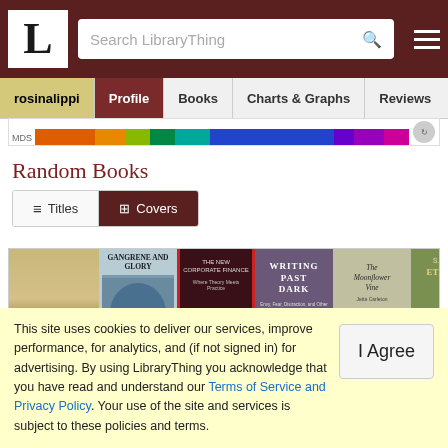LibraryThing navigation bar with logo, search bar, and hamburger menu
rosinalippi | Profile | Books | Charts & Graphs | Reviews
[Figure (infographic): MDS color bar showing spectrum of book categories in orange, yellow-green, green, teal, blue, purple, and pink segments]
Random Books
Titles | Covers toggle buttons
[Figure (photo): Strip of 6 random book covers: an illustrated landscape book, Gangrene and Glory, a dark cover book about corporate finance, Writing Past Dark, The Moonflower Vine, S.L. Viehl Eternity Row]
This site uses cookies to deliver our services, improve performance, for analytics, and (if not signed in) for advertising. By using LibraryThing you acknowledge that you have read and understand our Terms of Service and Privacy Policy. Your use of the site and services is subject to these policies and terms.